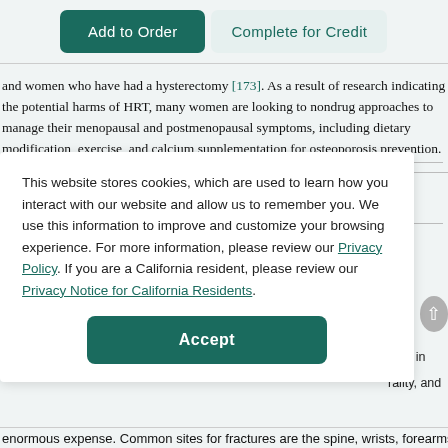[Figure (screenshot): Two buttons: 'Add to Order' (dark teal) and 'Complete for Credit' (light teal outline)]
and women who have had a hysterectomy [173]. As a result of research indicating the potential harms of HRT, many women are looking to nondrug approaches to manage their menopausal and postmenopausal symptoms, including dietary modification, exercise, and calcium supplementation for osteoporosis prevention.
This website stores cookies, which are used to learn how you interact with our website and allow us to remember you. We use this information to improve and customize your browsing experience. For more information, please review our Privacy Policy. If you are a California resident, please review our Privacy Notice for California Residents.
[Figure (screenshot): Accept button (dark teal, rounded rectangle)]
enormous expense. Common sites for fractures are the spine, wrists, forearms